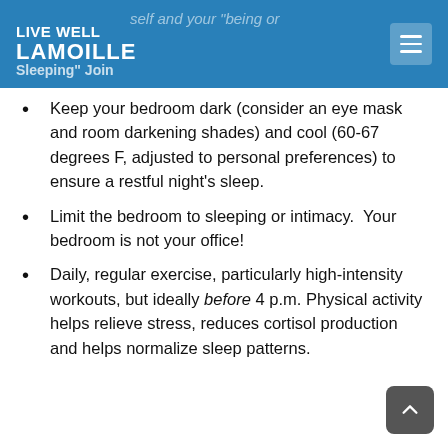LIVE WELL LAMOILLE
Keep your bedroom dark (consider an eye mask and room darkening shades) and cool (60-67 degrees F, adjusted to personal preferences) to ensure a restful night's sleep.
Limit the bedroom to sleeping or intimacy.  Your bedroom is not your office!
Daily, regular exercise, particularly high-intensity workouts, but ideally before 4 p.m. Physical activity helps relieve stress, reduces cortisol production and helps normalize sleep patterns.